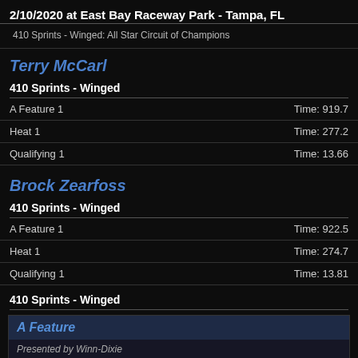2/10/2020 at East Bay Raceway Park - Tampa, FL
410 Sprints - Winged: All Star Circuit of Champions
Terry McCarl
410 Sprints - Winged
A Feature 1   Time: 919.7
Heat 1   Time: 277.2
Qualifying 1   Time: 13.66
Brock Zearfoss
410 Sprints - Winged
A Feature 1   Time: 922.5
Heat 1   Time: 274.7
Qualifying 1   Time: 13.81
410 Sprints - Winged
A Feature
Presented by Winn-Dixie
| Pos | Start | Driver |
| --- | --- | --- |